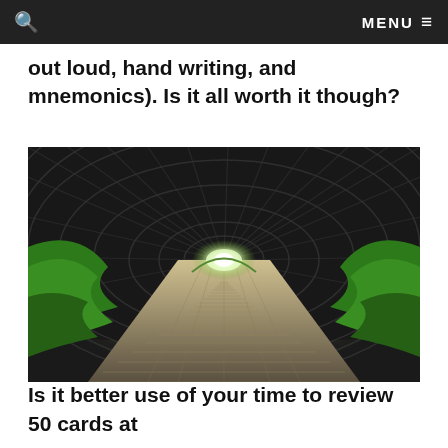🔍   MENU ≡
out loud, hand writing, and mnemonics). Is it all worth it though?
[Figure (photo): A long wooden boardwalk tunnel covered with a geometric lattice/trellis arch structure, with green plants on both sides leading to a bright arched opening at the far end.]
Is it better use of your time to review 50 cards at